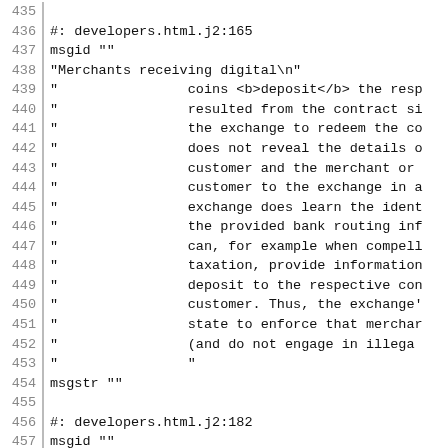435 (partial line)
436 #: developers.html.j2:165
437 msgid ""
438 "Merchants receiving digital\n"
439 "                coins <b>deposit</b> the resp
440 "                resulted from the contract si
441 "                the exchange to redeem the co
442 "                does not reveal the details o
443 "                customer and the merchant or
444 "                customer to the exchange in a
445 "                exchange does learn the ident
446 "                the provided bank routing inf
447 "                can, for example when compell
448 "                taxation, provide information
449 "                deposit to the respective con
450 "                customer. Thus, the exchange'
451 "                state to enforce that merchar
452 "                (and do not engage in illega
453 "                "
454 msgstr ""
455 
456 #: developers.html.j2:182
457 msgid ""
458 "Finally, the exchange transfers funds\n"
459 "                corresponding to the digital
460 "                merchants to the merchant's <
461 "                exchange may combine multiple
462 "                one larger bank transfer. Th
463 "                exchange about the relationsh
464 "                transfers and the individual
465 "                deposited.\n"